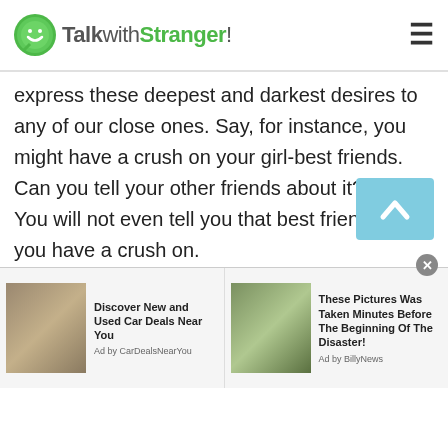TalkwithStranger!
express these deepest and darkest desires to any of our close ones. Say, for instance, you might have a crush on your girl-best friends. Can you tell your other friends about it? No. You will not even tell you that best friend whom you have a crush on.

The reason being, you are scared that you will lose your friendship if you do so. It also itches you to see her every day and not express your feelings to her. In this case, when you cannot talk to any of your close ones, you will then need someone who will listen to you without judging you. On the platform of
[Figure (screenshot): Advertisement bar with two ads: 'Discover New and Used Car Deals Near You' by CarDealsNearYou, and 'These Pictures Was Taken Minutes Before The Beginning Of The Disaster!' by BillyNews]